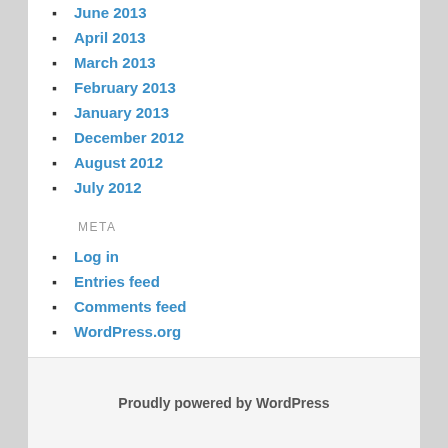June 2013
April 2013
March 2013
February 2013
January 2013
December 2012
August 2012
July 2012
META
Log in
Entries feed
Comments feed
WordPress.org
Proudly powered by WordPress